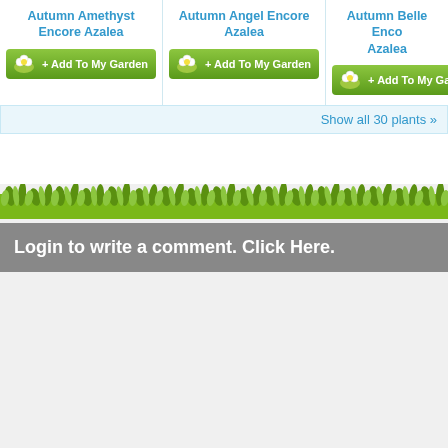Autumn Amethyst Encore Azalea
+ Add To My Garden
Autumn Angel Encore Azalea
+ Add To My Garden
Autumn Belle Encore Azalea
+ Add To My Garde
Show all 30 plants »
[Figure (illustration): Grass/lawn decorative strip illustration]
Login to write a comment. Click Here.